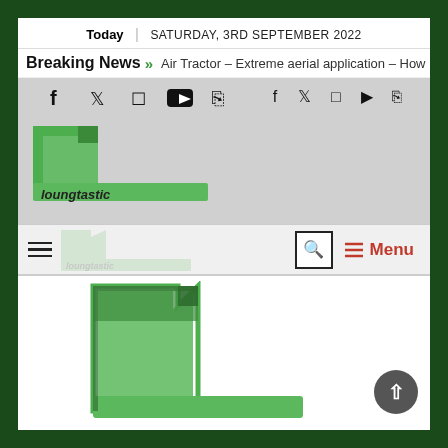Today | SATURDAY, 3RD SEPTEMBER 2022
Breaking News > Air Tractor – Extreme aerial application – How
[Figure (logo): Social media icons: Facebook, Twitter, Instagram, YouTube, RSS]
[Figure (logo): Loungtastic website logo - green angular L shape with italic text 'loungtastic']
[Figure (screenshot): Navigation bar with hamburger menu, search icon, and red Menu button]
[Figure (logo): Large Loungtastic logo - green angular L shape, partial view in white content area]